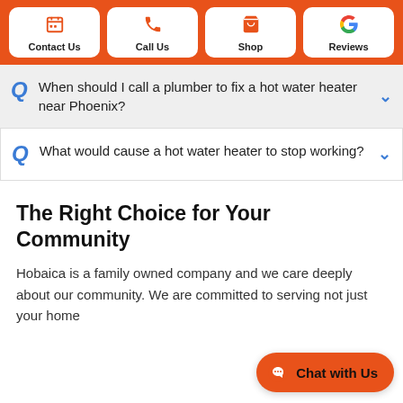Contact Us | Call Us | Shop | Reviews
Q When should I call a plumber to fix a hot water heater near Phoenix?
Q What would cause a hot water heater to stop working?
The Right Choice for Your Community
Hobaica is a family owned company and we care deeply about our community. We are committed to serving not just your home but also your community.